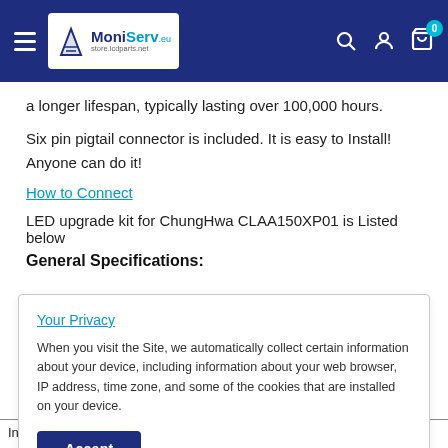MoniServ store.lcdparts.net
a longer lifespan, typically lasting over 100,000 hours.
Six pin pigtail connector is included. It is easy to Install! Anyone can do it!
How to Connect
LED upgrade kit for ChungHwa CLAA150XP01 is Listed below
General Specifications:
Your Privacy
When you visit the Site, we automatically collect certain information about your device, including information about your web browser, IP address, time zone, and some of the cookies that are installed on your device.
| Input Voltage VRR | [V+1] | 3.3V |
| --- | --- | --- |